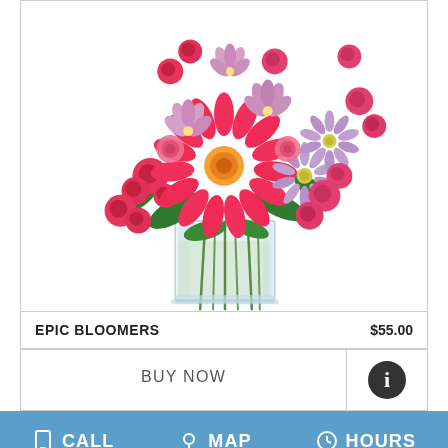[Figure (photo): A floral arrangement called Epic Bloomers in a clear glass rectangular vase, featuring pink gerbera daisies, red/pink spray roses, lavender alstroemeria, and purple aster flowers with green foliage]
EPIC BLOOMERS    $55.00
BUY NOW
CALL   MAP   HOURS